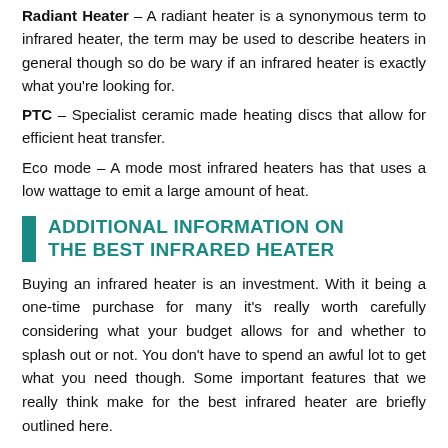Radiant Heater – A radiant heater is a synonymous term to infrared heater, the term may be used to describe heaters in general though so do be wary if an infrared heater is exactly what you're looking for.
PTC – Specialist ceramic made heating discs that allow for efficient heat transfer.
Eco mode – A mode most infrared heaters has that uses a low wattage to emit a large amount of heat.
ADDITIONAL INFORMATION ON THE BEST INFRARED HEATER
Buying an infrared heater is an investment. With it being a one-time purchase for many it's really worth carefully considering what your budget allows for and whether to splash out or not. You don't have to spend an awful lot to get what you need though. Some important features that we really think make for the best infrared heater are briefly outlined here.